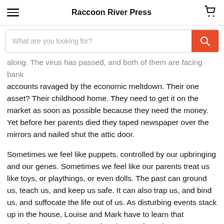Raccoon River Press
What are you looking for?
along. The virus has passed, and both of them are facing bank accounts ravaged by the economic meltdown. Their one asset? Their childhood home. They need to get it on the market as soon as possible because they need the money. Yet before her parents died they taped newspaper over the mirrors and nailed shut the attic door.
Sometimes we feel like puppets, controlled by our upbringing and our genes. Sometimes we feel like our parents treat us like toys, or playthings, or even dolls. The past can ground us, teach us, and keep us safe. It can also trap us, and bind us, and suffocate the life out of us. As disturbing events stack up in the house, Louise and Mark have to learn that sometimes the only way to break away from the past, sometimes the only way to